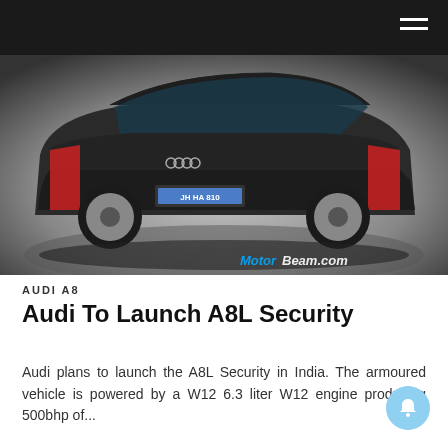[Figure (photo): Rear three-quarter view of a dark grey Audi A8L luxury sedan against a dark background, with MotorBeam.com watermark in the lower right corner.]
AUDI A8
Audi To Launch A8L Security
Audi plans to launch the A8L Security in India. The armoured vehicle is powered by a W12 6.3 liter W12 engine producing 500bhp of...
by Faisal Khan